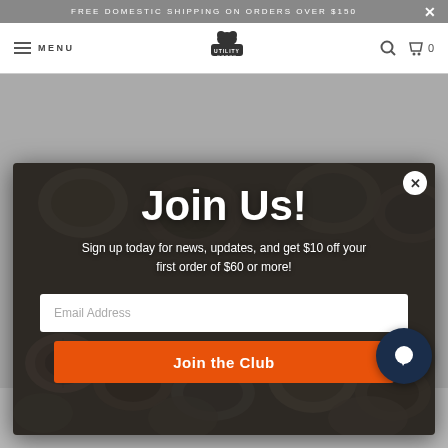FREE DOMESTIC SHIPPING ON ORDERS OVER $150
[Figure (screenshot): Website navigation bar with hamburger menu, MENU text, Utility Goods bear logo, search icon, and cart icon with 0 items]
[Figure (photo): Modal popup overlay on a stacked firewood/logs background photo showing a newsletter signup form]
Join Us!
Sign up today for news, updates, and get $10 off your first order of $60 or more!
Email Address
Join the Club
SIGN UP